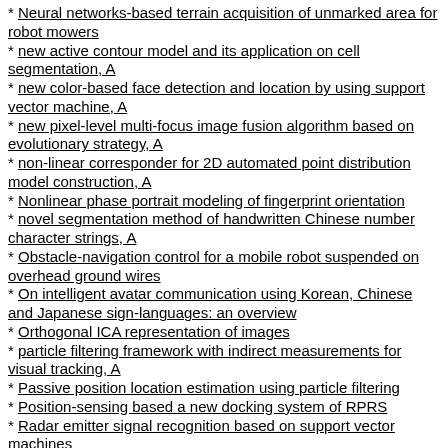* Neural networks-based terrain acquisition of unmarked area for robot mowers
* new active contour model and its application on cell segmentation, A
* new color-based face detection and location by using support vector machine, A
* new pixel-level multi-focus image fusion algorithm based on evolutionary strategy, A
* non-linear corresponder for 2D automated point distribution model construction, A
* Nonlinear phase portrait modeling of fingerprint orientation
* novel segmentation method of handwritten Chinese number character strings, A
* Obstacle-navigation control for a mobile robot suspended on overhead ground wires
* On intelligent avatar communication using Korean, Chinese and Japanese sign-languages: an overview
* Orthogonal ICA representation of images
* particle filtering framework with indirect measurements for visual tracking, A
* Passive position location estimation using particle filtering
* Position-sensing based a new docking system of RPRS
* Radar emitter signal recognition based on support vector machines
* real-time machine vision system for bottle finish inspection,